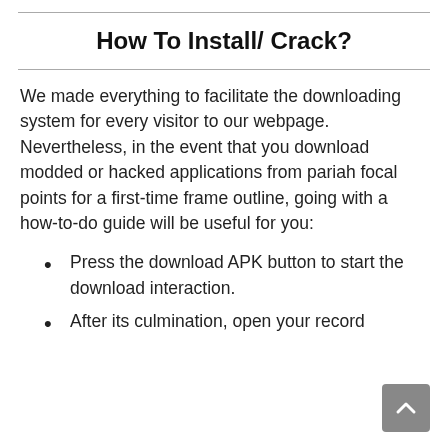How To Install/ Crack?
We made everything to facilitate the downloading system for every visitor to our webpage. Nevertheless, in the event that you download modded or hacked applications from pariah focal points for a first-time frame outline, going with a how-to-do guide will be useful for you:
Press the download APK button to start the download interaction.
After its culmination, open your record